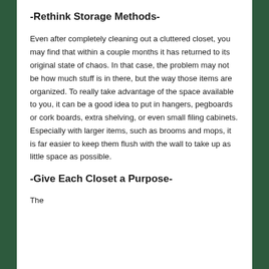-Rethink Storage Methods-
Even after completely cleaning out a cluttered closet, you may find that within a couple months it has returned to its original state of chaos. In that case, the problem may not be how much stuff is in there, but the way those items are organized. To really take advantage of the space available to you, it can be a good idea to put in hangers, pegboards or cork boards, extra shelving, or even small filing cabinets. Especially with larger items, such as brooms and mops, it is far easier to keep them flush with the wall to take up as little space as possible.
-Give Each Closet a Purpose-
The...